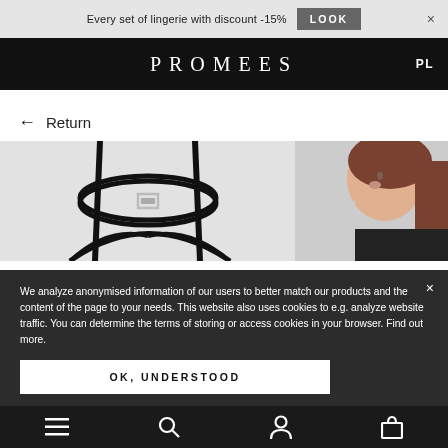Every set of lingerie with discount -15% LOOK ×
PROMEES
← Return
[Figure (photo): Product image of black lingerie/choker set on grey background (left), and model wearing black clothing on grey background (right)]
We analyze anonymised information of our users to better match our products and the content of the page to your needs. This website also uses cookies to e.g. analyze website traffic. You can determine the terms of storing or access cookies in your browser. Find out more.
OK, UNDERSTOOD
≡ 🔍 👤 🛍